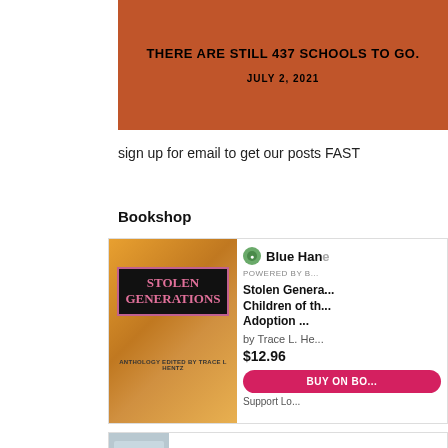[Figure (other): Orange/brown banner with bold uppercase text 'THERE ARE STILL 437 SCHOOLS TO GO.' and date 'JULY 2, 2021' below]
sign up for email to get our posts FAST
Bookshop
[Figure (other): Bookshop widget showing book 'Stolen Generations: Children of the Adoption ...' by Trace L. He... priced at $12.96 with a BUY ON BO... button and Support Lo... text. Book cover shows 'Stolen Generations' title in pink on black box over colorful illustration. Blue Hand shop logo with POWERED BY B... text shown.]
[Figure (other): Second bookshop widget partially visible at bottom — Blue Han... shop logo visible]